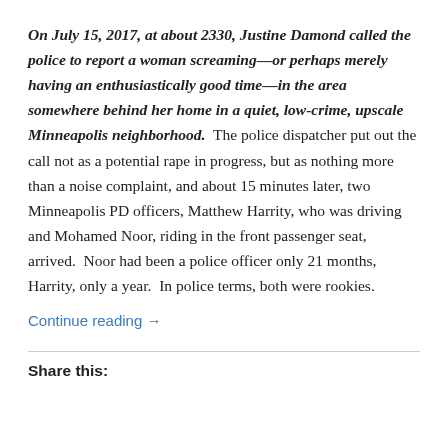On July 15, 2017, at about 2330, Justine Damond called the police to report a woman screaming—or perhaps merely having an enthusiastically good time—in the area somewhere behind her home in a quiet, low-crime, upscale Minneapolis neighborhood. The police dispatcher put out the call not as a potential rape in progress, but as nothing more than a noise complaint, and about 15 minutes later, two Minneapolis PD officers, Matthew Harrity, who was driving and Mohamed Noor, riding in the front passenger seat, arrived. Noor had been a police officer only 21 months, Harrity, only a year. In police terms, both were rookies.
Continue reading →
Share this: